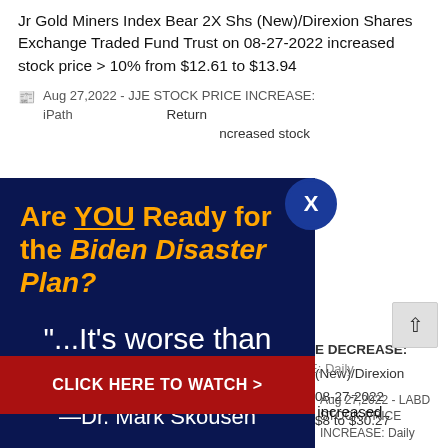Jr Gold Miners Index Bear 2X Shs (New)/Direxion Shares Exchange Traded Fund Trust on 08-27-2022 increased stock price > 10% from $12.61 to $13.94
Aug 27,2022 - JJE STOCK PRICE INCREASE: iPath ... Return increased stock
[Figure (infographic): Ad overlay on dark navy/blue background with US flag imagery. Yellow bold headline: 'Are YOU Ready for the Biden Disaster Plan?' followed by white large text quote: '"...It's worse than you think."' and attribution '—Dr. Mark Skousen'. Red CTA button at bottom: 'CLICK HERE TO WATCH >'. Blue circle close button with X at top right of overlay.]
E DECREASE: (New)/Direxion 08-27-2022 $8 to $30.27
Aug 27,2022 - LABD STOCK PRICE INCREASE: Daily xion Shares Exchange Traded Fund Trust on 08-27-2022 increased stock price > 10% from $18.63 to $21.35